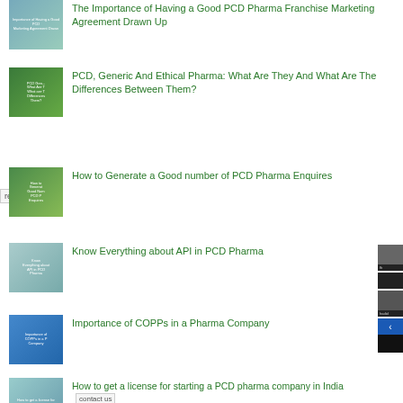The Importance of Having a Good PCD Pharma Franchise Marketing Agreement Drawn Up
PCD, Generic And Ethical Pharma: What Are They And What Are The Differences Between Them?
How to Generate a Good number of PCD Pharma Enquires
Know Everything about API in PCD Pharma
Importance of COPPs in a Pharma Company
How to get a license for starting a PCD pharma company in India